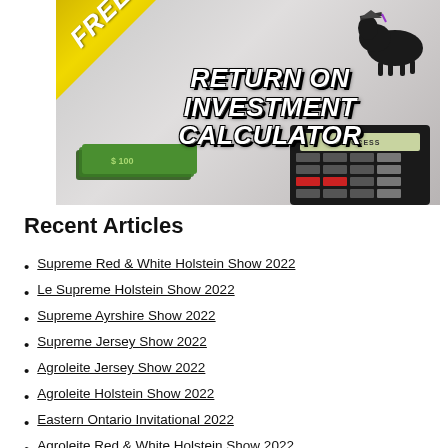[Figure (illustration): Promotional banner image with a black cow wearing a graduation cap, text reading 'RETURN ON INVESTMENT CALCULATOR', a stack of money bills, a black calculator showing 'SUCCESS' on its screen, and a gold 'FREE' ribbon in the top-left corner.]
Recent Articles
Supreme Red & White Holstein Show 2022
Le Supreme Holstein Show 2022
Supreme Ayrshire Show 2022
Supreme Jersey Show 2022
Agroleite Jersey Show 2022
Agroleite Holstein Show 2022
Eastern Ontario Invitational 2022
Agroleite Red & White Holstein Show 2022